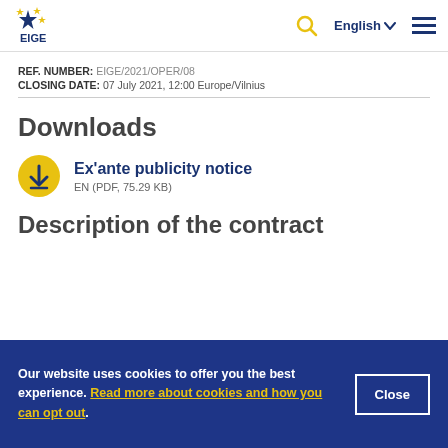[Figure (logo): EIGE logo — blue star with yellow stars and 'EIGE' text]
REF. NUMBER: EIGE/2021/OPER/08
CLOSING DATE: 07 July 2021, 12:00 Europe/Vilnius
Downloads
Ex'ante publicity notice EN (PDF, 75.29 KB)
Description of the contract
Our website uses cookies to offer you the best experience. Read more about cookies and how you can opt out.